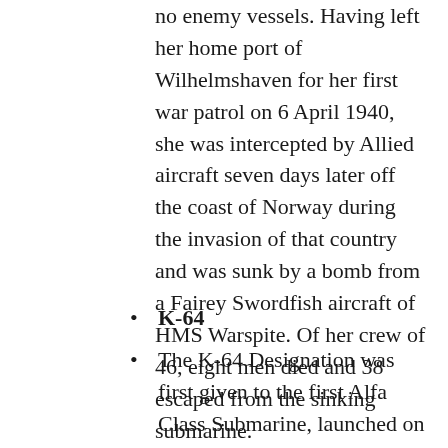no enemy vessels. Having left her home port of Wilhelmshaven for her first war patrol on 6 April 1940, she was intercepted by Allied aircraft seven days later off the coast of Norway during the invasion of that country and was sunk by a bomb from a Fairey Swordfish aircraft of HMS Warspite. Of her crew of 46, eight men died and 38 escaped from the sinking submarine.
K-64
The K-64 Designation was first given to the first Alfa Class Submarine, launched on April 22, 1969.